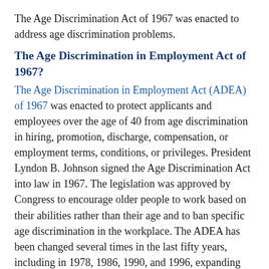The Age Discrimination Act of 1967 was enacted to address age discrimination problems.
The Age Discrimination in Employment Act of 1967?
The Age Discrimination in Employment Act (ADEA) of 1967 was enacted to protect applicants and employees over the age of 40 from age discrimination in hiring, promotion, discharge, compensation, or employment terms, conditions, or privileges. President Lyndon B. Johnson signed the Age Discrimination Act into law in 1967. The legislation was approved by Congress to encourage older people to work based on their abilities rather than their age and to ban specific age discrimination in the workplace. The ADEA has been changed several times in the last fifty years, including in 1978, 1986, 1990, and 1996, expanding the scope of the law and extending protection to senior workers.
How Can I Avoid Age Discrimination in Job Applications?